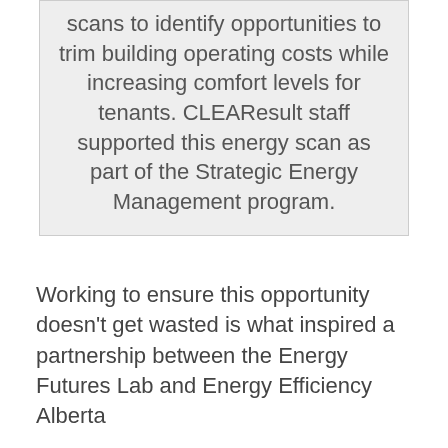scans to identify opportunities to trim building operating costs while increasing comfort levels for tenants. CLEAResult staff supported this energy scan as part of the Strategic Energy Management program.
Working to ensure this opportunity doesn't get wasted is what inspired a partnership between the Energy Futures Lab and Energy Efficiency Alberta